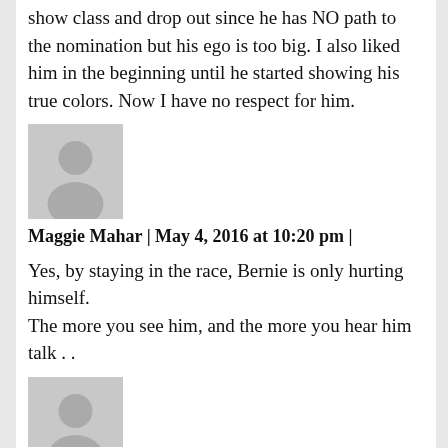show class and drop out since he has NO path to the nomination but his ego is too big. I also liked him in the beginning until he started showing his true colors. Now I have no respect for him.
[Figure (illustration): Gray placeholder avatar icon showing a silhouette of a person (head and shoulders) on a gray background]
Maggie Mahar | May 4, 2016 at 10:20 pm |
Yes, by staying in the race, Bernie is only hurting himself.
The more you see him, and the more you hear him talk . .
[Figure (illustration): Gray placeholder avatar icon showing a silhouette of a person (head and shoulders) on a gray background, partially visible]